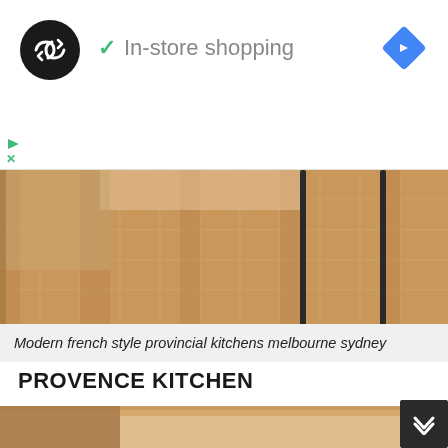[Figure (screenshot): Advertisement banner with circular black logo with double arrow symbol, green checkmark and 'In-store shopping' text, blue diamond navigation icon on right, play and close (X) controls bottom left]
[Figure (photo): Kitchen floor photo showing terracotta/beige square tiles with dark metal chair/table legs visible, French provincial style]
Modern french style provincial kitchens melbourne sydney
PROVENCE KITCHEN
The picture below is a gorgeous design about provence kitchen. We have picked you from numerous pictures available on the internet. Have a look at the image below for Ideas.
[Figure (photo): Bottom portion of kitchen photo showing wooden countertop/table edge and blurred kitchen interior]